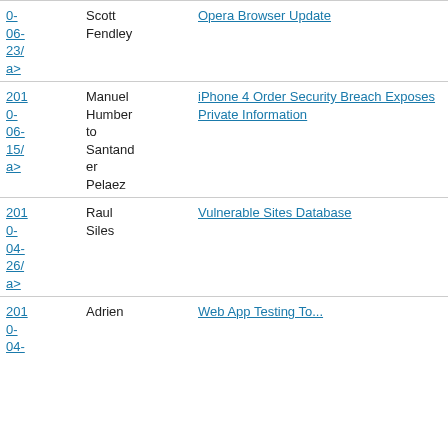| Date | Author | Title |
| --- | --- | --- |
| 2010-06-23/ a> | Scott Fendley | Opera Browser Update |
| 2010-06-15/ a> | Manuel Humberto Santander Pelaez | iPhone 4 Order Security Breach Exposes Private Information |
| 2010-04-26/ a> | Raul Siles | Vulnerable Sites Database |
| 2010-04- | Adrien de B... | Web App Testing Tools... |